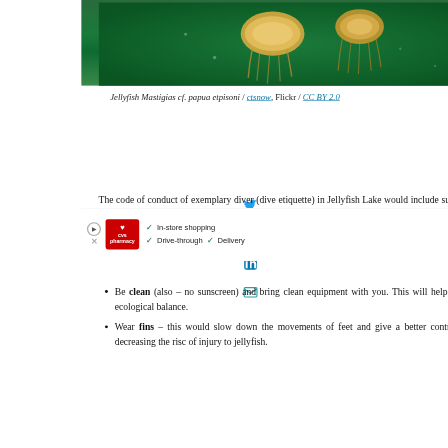[Figure (photo): Jellyfish Mastigias cf. papua etpisoni — two jellyfish with yellow-orange coloring floating against a dark green background]
Jellyfish Mastigias cf. papua etpisoni / ctsnow, Flickr / CC BY 2.0
The code of conduct of exemplary diver (dive etiquette) in Jellyfish Lake would include such rules (3):
Be clean (also – no sunscreen) and bring clean equipment with you. This will help to keep ecological balance.
Wear fins – this would slow down the movements of feet and give a better control, thus decreasing the risc of injury to jellyfish.